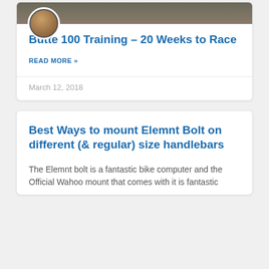[Figure (photo): Blog post card with banner image and avatar photo of a man with glasses]
Butte 100 Training – 20 Weeks to Race
READ MORE »
March 12, 2018
Best Ways to mount Elemnt Bolt on different (& regular) size handlebars
The Elemnt bolt is a fantastic bike computer and the Official Wahoo mount that comes with it is fantastic